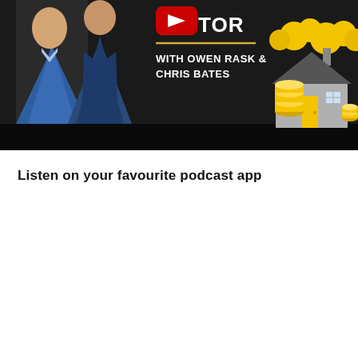[Figure (screenshot): Podcast/YouTube banner thumbnail with dark background. Shows two men on the left side — one in a blue plaid blazer, one in a dark blue shirt. Center text shows a YouTube play button icon partially cut off with text 'TOR', a gold horizontal line, and 'WITH OWEN RASK & CHRIS BATES' in white bold text. Right side shows an illustrated house with yellow door, grey roof, gold coins stacked, and yellow cloud/bush decorations.]
Listen on your favourite podcast app